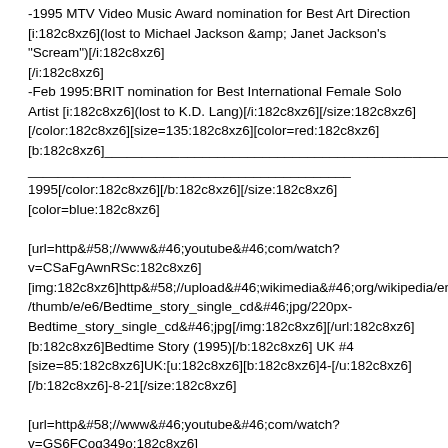-1995 MTV Video Music Award nomination for Best Art Direction [i:182c8xz6](lost to Michael Jackson &amp; Janet Jackson's "Scream")[/i:182c8xz6]
-Feb 1995:BRIT nomination for Best International Female Solo Artist [i:182c8xz6](lost to K.D. Lang)[/i:182c8xz6][/size:182c8xz6][/color:182c8xz6][size=135:182c8xz6][color=red:182c8xz6][b:182c8xz6]_______________________________________________
___________________________________________
1995[/color:182c8xz6][/b:182c8xz6][/size:182c8xz6][color=blue:182c8xz6]

[url=http&#58;//www&#46;youtube&#46;com/watch?v=CSaFgAwnRSc:182c8xz6][img:182c8xz6]http&#58;//upload&#46;wikimedia&#46;org/wikipedia/en/thumb/e/e6/Bedtime_story_single_cd&#46;jpg/220px-Bedtime_story_single_cd&#46;jpg[/img:182c8xz6][/url:182c8xz6][b:182c8xz6]Bedtime Story (1995)[/b:182c8xz6] UK #4 [size=85:182c8xz6]UK:[u:182c8xz6][b:182c8xz6]4-[/u:182c8xz6][/b:182c8xz6]-8-21[/size:182c8xz6]

[url=http&#58;//www&#46;youtube&#46;com/watch?v=GS6FCoq349o:182c8xz6][img:182c8xz6]http&#58;//upload&#46;wikimedia&#46;org/wikipedia/en/thumb/a/af/Humannature2&#46;jpg/220px-Humannature2&#46;jpg[/img:182c8xz6][/url:182c8xz6][b:182c8xz6]Human Nature (1995)[/b:182c8xz6] UK #8 [size=85:182c8xz6]UK:[u:182c8xz6][b:182c8xz6]8[/u:182c8xz6][/b:182c8xz6]-21-28
-1995 MTV Video Music Award nomination for Best Dance Video [i:182c8xz6](lost to Michael Jackson &amp; Janet Jackson's "Scream")